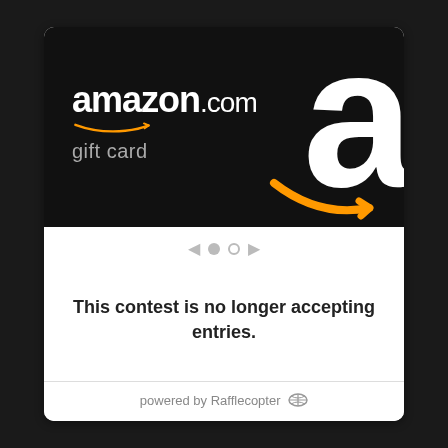[Figure (photo): Amazon.com gift card image on black background with large white 'a' letter and orange arrow smile logo]
[Figure (other): Carousel navigation: left arrow, filled dot, empty dot, right arrow]
This contest is no longer accepting entries.
powered by Rafflecopter